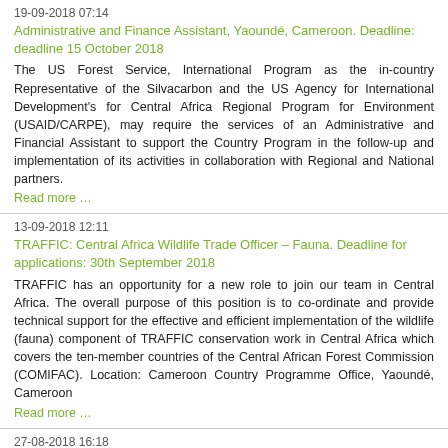19-09-2018 07:14
Administrative and Finance Assistant, Yaoundé, Cameroon. Deadline: deadline 15 October 2018
The US Forest Service, International Program as the in-country Representative of the Silvacarbon and the US Agency for International Development's for Central Africa Regional Program for Environment (USAID/CARPE), may require the services of an Administrative and Financial Assistant to support the Country Program in the follow-up and implementation of its activities in collaboration with Regional and National partners.
Read more …
13-09-2018 12:11
TRAFFIC: Central Africa Wildlife Trade Officer – Fauna. Deadline for applications: 30th September 2018
TRAFFIC has an opportunity for a new role to join our team in Central Africa. The overall purpose of this position is to co-ordinate and provide technical support for the effective and efficient implementation of the wildlife (fauna) component of TRAFFIC conservation work in Central Africa which covers the ten-member countries of the Central African Forest Commission (COMIFAC). Location: Cameroon Country Programme Office, Yaoundé, Cameroon
Read more …
27-08-2018 16:18
TECHNICAL ADVISOR, DJA FAUNAL RESERVE, CAMEROON
Technical Advisor (TA), Dja Faunal reserve who will provide technical support to the conservator of DFR, build the capacity of the Service de Conservation, develop management and operational plans, facilitate coordination with the surrounding landscape and improve the overall management and conservation of the Park. CLOSING DATE:   September 9, 2018
Read more …